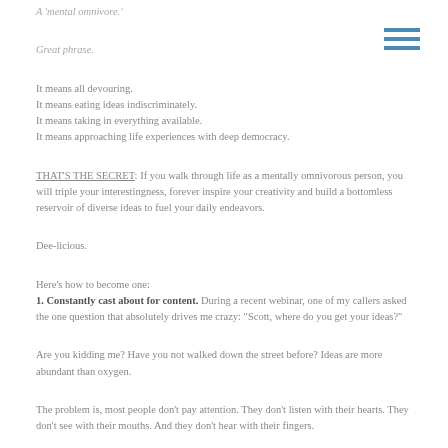A 'mental omnivore.'
Great phrase.
It means all devouring.
It means eating ideas indiscriminately.
It means taking in everything available.
It means approaching life experiences with deep democracy.
THAT'S THE SECRET: If you walk through life as a mentally omnivorous person, you will triple your interestingness, forever inspire your creativity and build a bottomless reservoir of diverse ideas to fuel your daily endeavors.
Dee-licious.
Here's how to become one:
1. Constantly cast about for content. During a recent webinar, one of my callers asked the one question that absolutely drives me crazy: "Scott, where do you get your ideas?"
Are you kidding me? Have you not walked down the street before? Ideas are more abundant than oxygen.
The problem is, most people don't pay attention. They don't listen with their hearts. They don't see with their mouths. And they don't hear with their fingers.